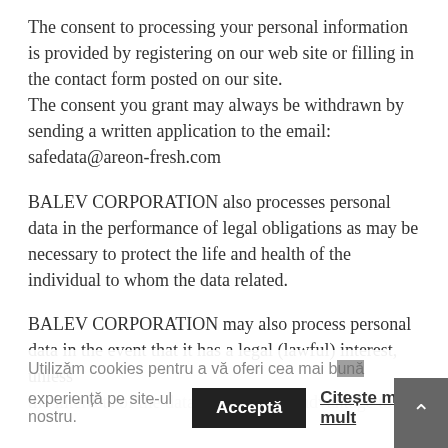The consent to processing your personal information is provided by registering on our web site or filling in the contact form posted on our site. The consent you grant may always be withdrawn by sending a written application to the email: safedata@areon-fresh.com
BALEV CORPORATION also processes personal data in the performance of legal obligations as may be necessary to protect the life and health of the individual to whom the data related.
BALEV CORPORATION may also process personal data in the event that it has a legal (lawful) interest, unless the interests of the data subject are of advantage to...
Utilizăm cookies pentru a vă oferi cea mai bună experiență pe site-ul nostru.